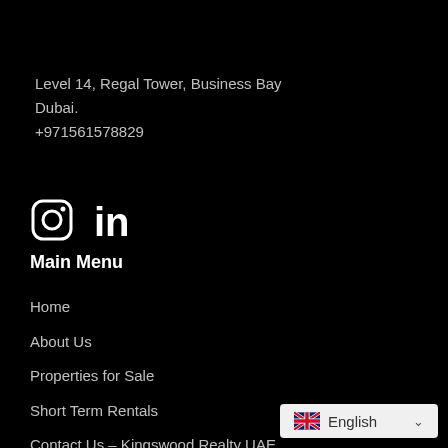Level 14, Regal Tower, Business Bay
Dubai.
+971561578829
[Figure (logo): Instagram and LinkedIn social media icons in white on black background]
Main Menu
Home
About Us
Properties for Sale
Short Term Rentals
Contact Us – Kingswood Realty UAE
Blog
[Figure (other): Language selector button showing UK flag and 'English' text with dropdown chevron on light background]